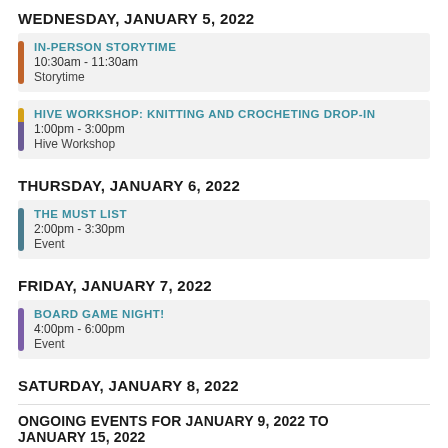WEDNESDAY, JANUARY 5, 2022
IN-PERSON STORYTIME
10:30am - 11:30am
Storytime
HIVE WORKSHOP: KNITTING AND CROCHETING DROP-IN
1:00pm - 3:00pm
Hive Workshop
THURSDAY, JANUARY 6, 2022
THE MUST LIST
2:00pm - 3:30pm
Event
FRIDAY, JANUARY 7, 2022
BOARD GAME NIGHT!
4:00pm - 6:00pm
Event
SATURDAY, JANUARY 8, 2022
ONGOING EVENTS FOR JANUARY 9, 2022 TO JANUARY 15, 2022